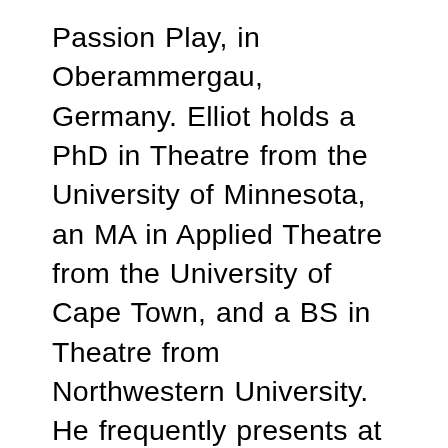Passion Play, in Oberammergau, Germany. Elliot holds a PhD in Theatre from the University of Minnesota, an MA in Applied Theatre from the University of Cape Town, and a BS in Theatre from Northwestern University. He frequently presents at national and international conferences, and has published in The Drama Review, Research in Drama Education, Theatre Research International, Theatre Topics, and Contemporary